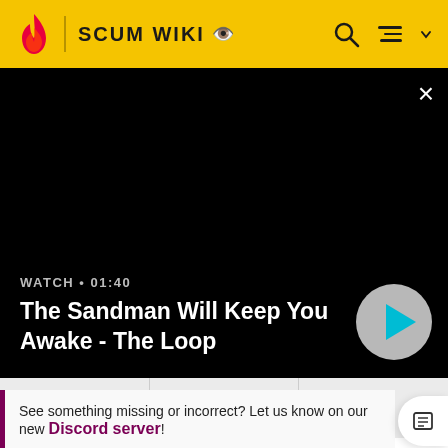SCUM WIKI
[Figure (screenshot): Black video player area with close button, showing video title overlay and play button]
WATCH • 01:40
The Sandman Will Keep You Awake - The Loop
See something missing or incorrect? Let us know on our new Discord server!